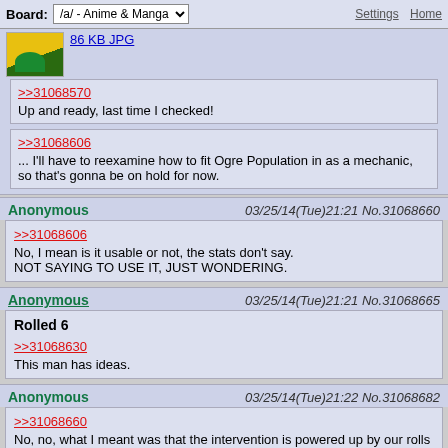Board: /a/ - Anime & Manga   Settings  Home
86 KB JPG
>>31068570
Up and ready, last time I checked!
>>31068606
... I'll have to reexamine how to fit Ogre Population in as a mechanic, so that's gonna be on hold for now.
Anonymous   03/25/14(Tue)21:21 No.31068660
>>31068606
No, I mean is it usable or not, the stats don't say.
NOT SAYING TO USE IT, JUST WONDERING.
Anonymous   03/25/14(Tue)21:21 No.31068665
Rolled 6

>>31068630
This man has ideas.
Anonymous   03/25/14(Tue)21:22 No.31068682
>>31068660
No, no, what I meant was that the intervention is powered up by our rolls in excess of the first 3 Blorp asks for.